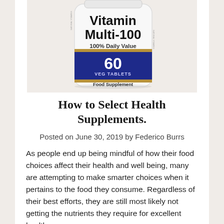[Figure (photo): A white supplement bottle labeled 'Vitamin Multi-100, 100% Daily Value, 60 VEG TABLETS, Food Supplement' with a dark blue and gold band around the middle.]
How to Select Health Supplements.
Posted on June 30, 2019 by Federico Burrs
As people end up being mindful of how their food choices affect their health and well being, many are attempting to make smarter choices when it pertains to the food they consume. Regardless of their best efforts, they are still most likely not getting the nutrients they require for excellent health.